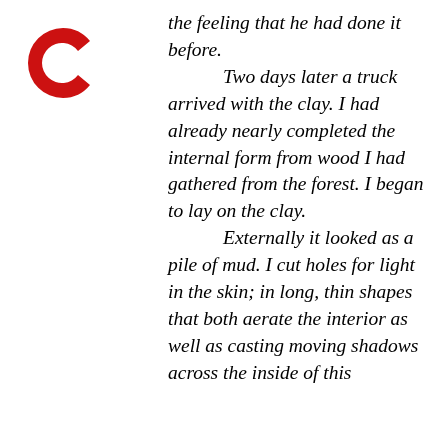[Figure (logo): Red circular letter C logo mark in the top left corner]
the feeling that he had done it before.

Two days later a truck arrived with the clay. I had already nearly completed the internal form from wood I had gathered from the forest. I began to lay on the clay.

Externally it looked as a pile of mud. I cut holes for light in the skin; in long, thin shapes that both aerate the interior as well as casting moving shadows across the inside of this